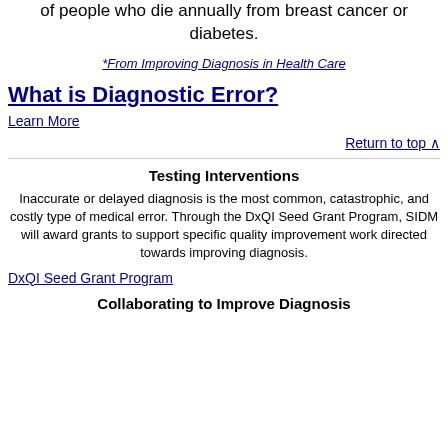of people who die annually from breast cancer or diabetes.
*From Improving Diagnosis in Health Care
What is Diagnostic Error?
Learn More
Return to top ^
Testing Interventions
Inaccurate or delayed diagnosis is the most common, catastrophic, and costly type of medical error. Through the DxQI Seed Grant Program, SIDM will award grants to support specific quality improvement work directed towards improving diagnosis.
DxQI Seed Grant Program
Collaborating to Improve Diagnosis